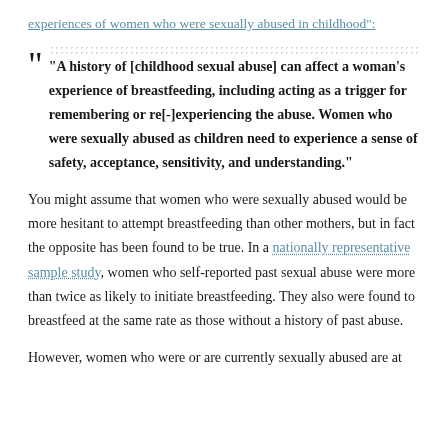experiences of women who were sexually abused in childhood":
“A history of [childhood sexual abuse] can affect a woman’s experience of breastfeeding, including acting as a trigger for remembering or re[-]experiencing the abuse. Women who were sexually abused as children need to experience a sense of safety, acceptance, sensitivity, and understanding.”
You might assume that women who were sexually abused would be more hesitant to attempt breastfeeding than other mothers, but in fact the opposite has been found to be true. In a nationally representative sample study, women who self-reported past sexual abuse were more than twice as likely to initiate breastfeeding. They also were found to breastfeed at the same rate as those without a history of past abuse.
However, women who were or are currently sexually abused are at